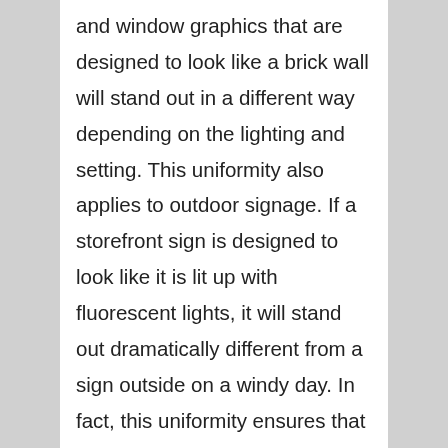and window graphics that are designed to look like a brick wall will stand out in a different way depending on the lighting and setting. This uniformity also applies to outdoor signage. If a storefront sign is designed to look like it is lit up with fluorescent lights, it will stand out dramatically different from a sign outside on a windy day. In fact, this uniformity ensures that when people are searching for products or services, they won't have to go hunting around too far or drive too long before finding what they need. So make sure that you work with a Los Angeles signage company that can provide you with a sign that consistently looks great no matter where it is installed and whether or not it